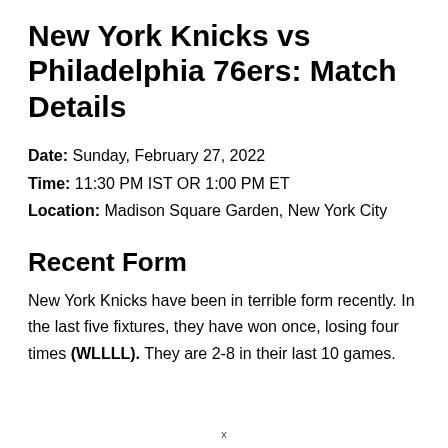New York Knicks vs Philadelphia 76ers: Match Details
Date: Sunday, February 27, 2022
Time: 11:30 PM IST OR 1:00 PM ET
Location: Madison Square Garden, New York City
Recent Form
New York Knicks have been in terrible form recently. In the last five fixtures, they have won once, losing four times (WLLLL). They are 2-8 in their last 10 games.
x